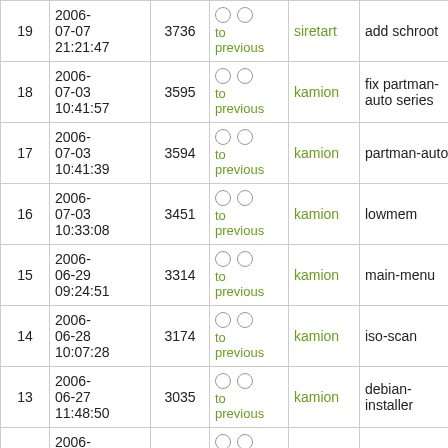| # | Date | Rev | Diff | Who | What |  |
| --- | --- | --- | --- | --- | --- | --- |
| 19 | 2006-07-07 21:21:47 | 3736 | ○ ○ to previous | siretart | add schroot | view |
| 18 | 2006-07-03 10:41:57 | 3595 | ○ ○ to previous | kamion | fix partman-auto series | view |
| 17 | 2006-07-03 10:41:39 | 3594 | ○ ○ to previous | kamion | partman-auto | view |
| 16 | 2006-07-03 10:33:08 | 3451 | ○ ○ to previous | kamion | lowmem | view |
| 15 | 2006-06-29 09:24:51 | 3314 | ○ ○ to previous | kamion | main-menu | view |
| 14 | 2006-06-28 10:07:28 | 3174 | ○ ○ to previous | kamion | iso-scan | view |
| 13 | 2006-06-27 11:48:50 | 3035 | ○ ○ to previous | kamion | debian-installer | view |
| 12 | 2006-06-12 14:22:38 | 2888 | ○ ○ to previous | ddaa |  | view |
| 11 | 2006-06-12 | 2877 | ○ ○ | ddaa |  | view |